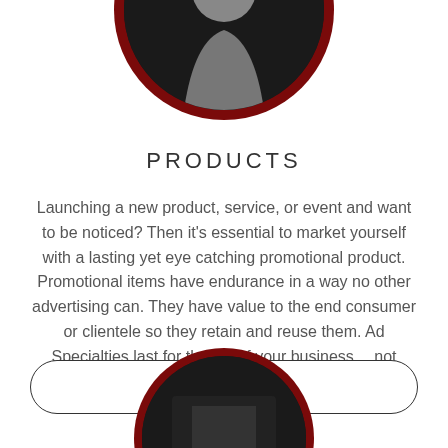[Figure (photo): Circular photo with dark red border showing a person figure, partially cropped at the top of the page]
PRODUCTS
Launching a new product, service, or event and want to be noticed? Then it's essential to market yourself with a lasting yet eye catching promotional product. Promotional items have endurance in a way no other advertising can. They have value to the end consumer or clientele so they retain and reuse them. Ad Specialties last for the life of your business… not something gone in a moment.
MORE
[Figure (photo): Circular photo with dark red border, partially visible at the bottom of the page]